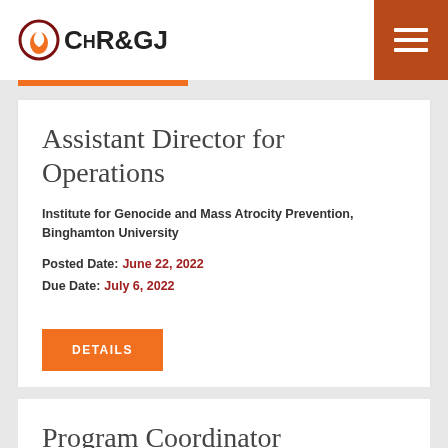CHR&GJ
Assistant Director for Operations
Institute for Genocide and Mass Atrocity Prevention, Binghamton University
Posted Date: June 22, 2022
Due Date: July 6, 2022
DETAILS
Program Coordinator